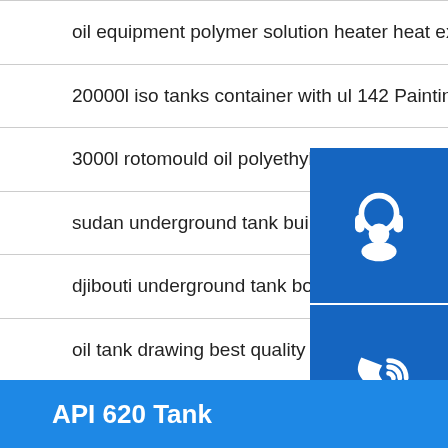oil equipment polymer solution heater heat exchanger export Painting
20000l iso tanks container with ul 142 Painting
3000l rotomould oil polyethylene tanks storage tank drums Strip surfacing weldin
sudan underground tank building technology Forming
djibouti underground tank boiler water system technology Heat treatment
oil tank drawing best quality Plasma welding
[Figure (infographic): Blue sidebar with three icons: customer service headset, phone/call icon, Skype icon]
API 620 Tank